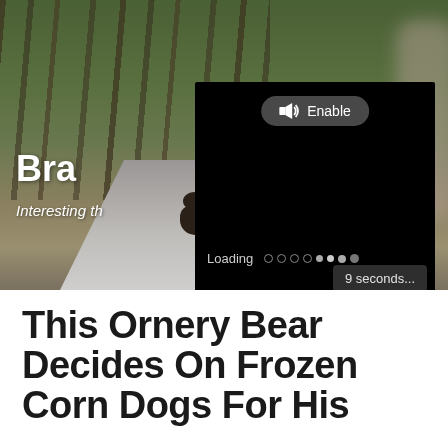[Figure (screenshot): Hero image showing a bear walking down a road through a forest, with a person visible on the right. A video player overlay is partially covering the image, showing a black screen with an 'Enable' audio button, a loading indicator with dots, and a '9 seconds...' countdown button.]
Bra
Interesting th
This Ornery Bear Decides On Frozen Corn Dogs For His